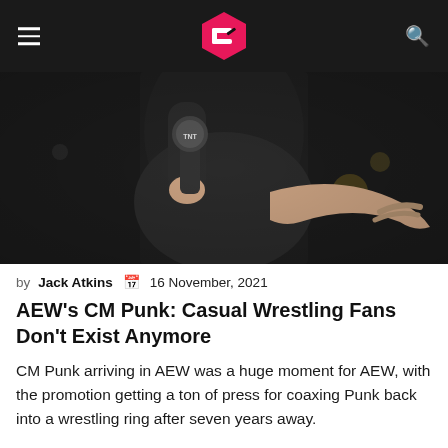Cultaholic
[Figure (photo): A person in a black hoodie holding a TNT microphone on stage, gesturing with their right hand in a dimly lit arena.]
by Jack Atkins  16 November, 2021
AEW's CM Punk: Casual Wrestling Fans Don't Exist Anymore
CM Punk arriving in AEW was a huge moment for AEW, with the promotion getting a ton of press for coaxing Punk back into a wrestling ring after seven years away.